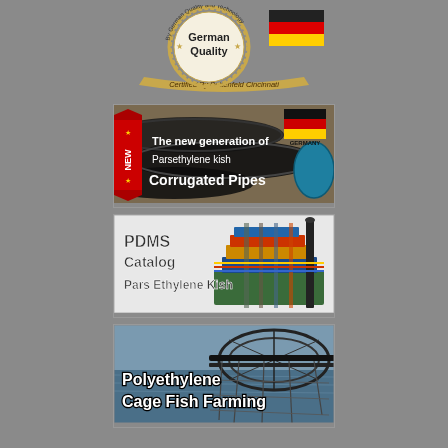[Figure (logo): German Quality seal/badge with 'By German Quality and Technology' circular text, 'German Quality' in center, 'Certified By Battenfeld Cincinnati' banner below, with German flag colors]
[Figure (illustration): Banner showing corrugated PE pipes with text 'NEW' on red ribbon, German flag icon, 'The new generation of Parsethylene kish Corrugated Pipes']
[Figure (illustration): Banner showing PDMS industrial plant 3D model with text 'PDMS Catalog Pars Ethylene Kish']
[Figure (photo): Banner showing circular fish farming cage net on water with text 'Polyethylene Cage Fish Farming']